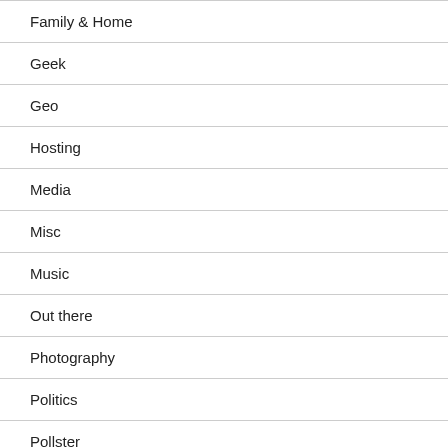Family & Home
Geek
Geo
Hosting
Media
Misc
Music
Out there
Photography
Politics
Pollster